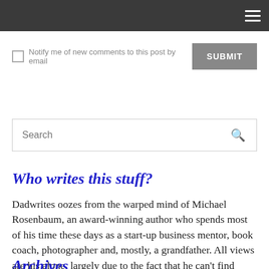≡
Notify me of new comments to this post by email   SUBMIT
Search
Who writes this stuff?
Dadwrites oozes from the warped mind of Michael Rosenbaum, an award-winning author who spends most of his time these days as a start-up business mentor, book coach, photographer and, mostly, a grandfather. All views are his alone, largely due to the fact that he can't find anyone who agrees with him.
Archives